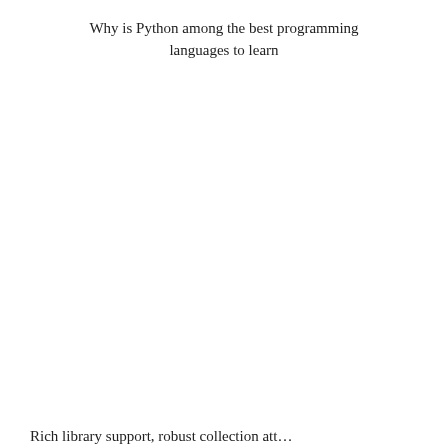Why is Python among the best programming languages to learn
Rich library support, robust collection att…